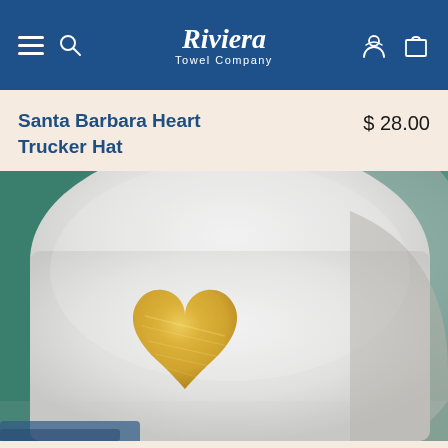Riviera Towel Company
Santa Barbara Heart Trucker Hat
$ 28.00
[Figure (photo): Close-up photograph of a white trucker hat with a large gold metallic heart emblem on the front panel. Background is blurred teal/green. Bottom of image shows a hint of blue brim.]